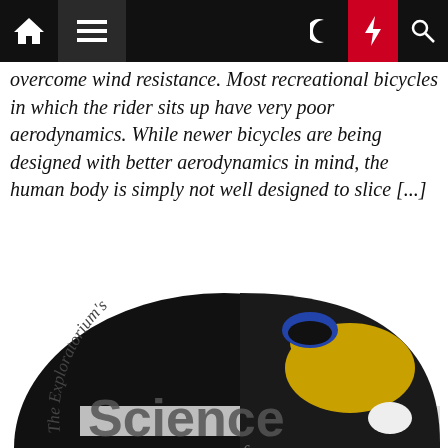Navigation bar with home, menu, moon, lightning, and search icons
overcome wind resistance. Most recreational bicycles in which the rider sits up have very poor aerodynamics. While newer bicycles are being designed with better aerodynamics in mind, the human body is simply not well designed to slice [...]
[Figure (illustration): The Exploratorium's Science of Cycling logo with a photo of a cyclist in aerodynamic position wearing a yellow jersey and helmet, overlaid on a dark semicircle background with curved italic text reading 'The Exploratorium's' and bold text 'Science' with 'of' below.]